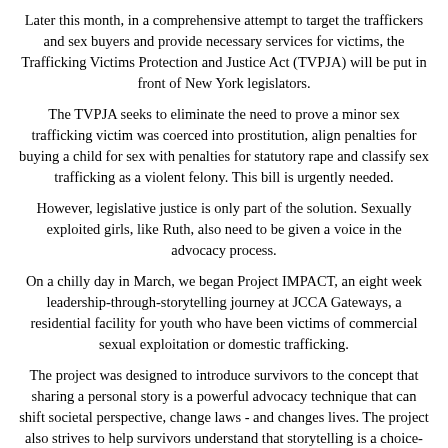Later this month, in a comprehensive attempt to target the traffickers and sex buyers and provide necessary services for victims, the Trafficking Victims Protection and Justice Act (TVPJA) will be put in front of New York legislators.
The TVPJA seeks to eliminate the need to prove a minor sex trafficking victim was coerced into prostitution, align penalties for buying a child for sex with penalties for statutory rape and classify sex trafficking as a violent felony. This bill is urgently needed.
However, legislative justice is only part of the solution. Sexually exploited girls, like Ruth, also need to be given a voice in the advocacy process.
On a chilly day in March, we began Project IMPACT, an eight week leadership-through-storytelling journey at JCCA Gateways, a residential facility for youth who have been victims of commercial sexual exploitation or domestic trafficking.
The project was designed to introduce survivors to the concept that sharing a personal story is a powerful advocacy technique that can shift societal perspective, change laws - and changes lives. The project also strives to help survivors understand that storytelling is a choice- the survivor gets to select if, when and how she wants to share her story.